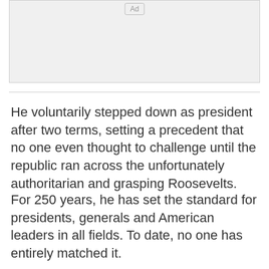[Figure (other): Advertisement placeholder box with 'Ad' label centered at top]
He voluntarily stepped down as president after two terms, setting a precedent that no one even thought to challenge until the republic ran across the unfortunately authoritarian and grasping Roosevelts.
For 250 years, he has set the standard for presidents, generals and American leaders in all fields. To date, no one has entirely matched it.